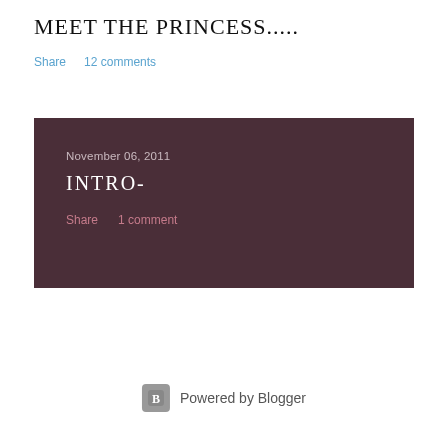MEET THE PRINCESS.....
Share    12 comments
November 06, 2011
INTRO-
Share    1 comment
Powered by Blogger